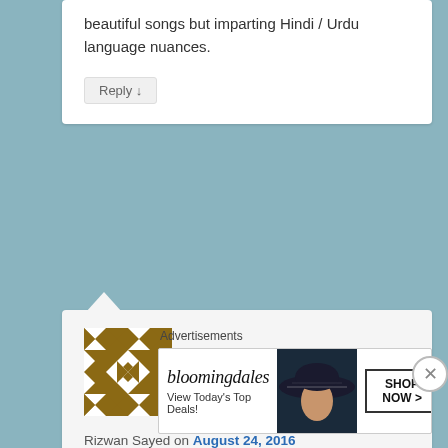beautiful songs but imparting Hindi / Urdu language nuances.
Reply ↓
[Figure (illustration): Geometric brown and white avatar/gravatar icon with diamond and arrow patterns]
Rizwan Sayed on August 24, 2016 at 3:15 PM said:
A very enjoyable analysis of a trenendously entertaining song. Keep up the splendid work guys!
Reply ↓
Advertisements
[Figure (screenshot): Bloomingdale's advertisement banner: bloomingdales logo, 'View Today's Top Deals!' text, woman with hat image, and 'SHOP NOW >' button]